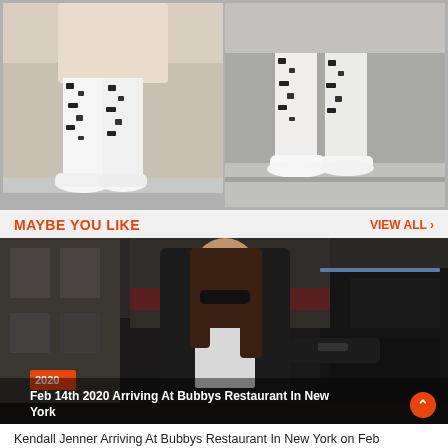[Figure (photo): Two cropped photos side by side showing patterned pants and white sneakers on a person walking on a city sidewalk]
MAYBE YOU LIKE
VIEW ALL >
[Figure (photo): Woman in black leather jacket and sunglasses arriving at Bubbys Restaurant in New York, with a year badge '2020' and caption overlay 'Feb 14th 2020 Arriving At Bubbys Restaurant In New York']
Kendall Jenner Arriving At Bubbys Restaurant In New York on Feb